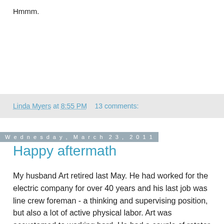Hmmm.
Linda Myers at 8:55 PM   13 comments:
Wednesday, March 23, 2011
Happy aftermath
My husband Art retired last May. He had worked for the electric company for over 40 years and his last job was line crew foreman - a thinking and supervising position, but also a lot of active physical labor. Art was accustomed to working hard. He had a couple of rotator cuff surgeries and then, last January, a surgery to remove the painful arthritic joint in his left thumb and replace it with a tendon from his forearm. He